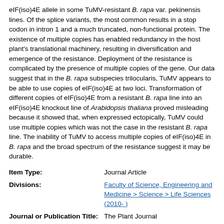eIF(iso)4E allele in some TuMV-resistant B. rapa var. pekinensis lines. Of the splice variants, the most common results in a stop codon in intron 1 and a much truncated, non-functional protein. The existence of multiple copies has enabled redundancy in the host plant's translational machinery, resulting in diversification and emergence of the resistance. Deployment of the resistance is complicated by the presence of multiple copies of the gene. Our data suggest that in the B. rapa subspecies trilocularis, TuMV appears to be able to use copies of eIF(iso)4E at two loci. Transformation of different copies of eIF(iso)4E from a resistant B. rapa line into an eIF(iso)4E knockout line of Arabidopsis thaliana proved misleading because it showed that, when expressed ectopically, TuMV could use multiple copies which was not the case in the resistant B. rapa line. The inability of TuMV to access multiple copies of eIF(iso)4E in B. rapa and the broad spectrum of the resistance suggest it may be durable.
| Field | Value |
| --- | --- |
| Item Type: | Journal Article |
| Divisions: | Faculty of Science, Engineering and Medicine > Science > Life Sciences (2010- ) |
| Journal or Publication Title: | The Plant Journal |
| Publisher: | John Wiley & Sons Ltd. |
| ISSN: | 0960-7412 |
| Official Date: | 2014 |